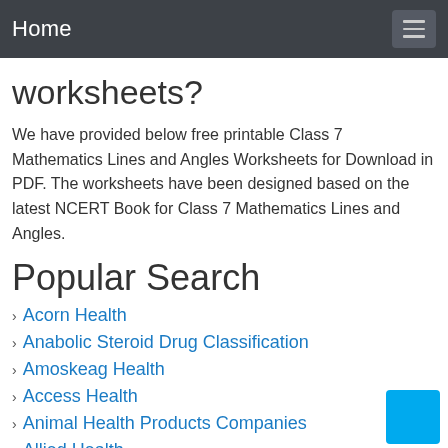Home
worksheets?
We have provided below free printable Class 7 Mathematics Lines and Angles Worksheets for Download in PDF. The worksheets have been designed based on the latest NCERT Book for Class 7 Mathematics Lines and Angles.
Popular Search
Acorn Health
Anabolic Steroid Drug Classification
Amoskeag Health
Access Health
Animal Health Products Companies
Allied Health